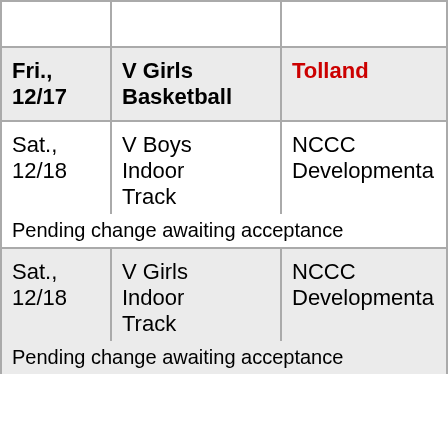| Date | Event | Details |
| --- | --- | --- |
|  |  |  |
| Fri., 12/17 | V Girls Basketball | Tolland |
| Sat., 12/18 | V Boys Indoor Track | NCCC Developmental |
|  | Pending change awaiting acceptance |  |
| Sat., 12/18 | V Girls Indoor Track | NCCC Developmental |
|  | Pending change awaiting acceptance |  |